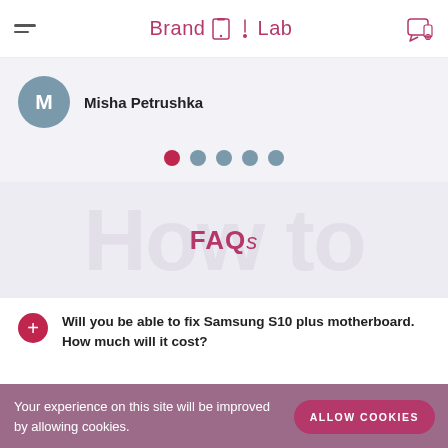BrandLab
Misha Petrushka
[Figure (infographic): Pagination dots: one active red dot followed by four grey dots]
FAQs
Will you be able to fix Samsung S10 plus motherboard. How much will it cost?
Your experience on this site will be improved by allowing cookies.